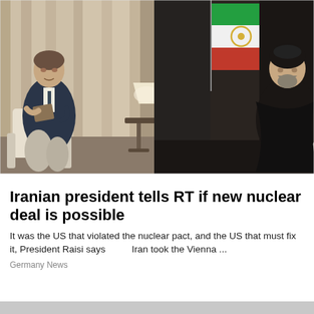[Figure (photo): Photo of an interview scene: a man in a suit holding a notebook sits on the left interviewing a person dressed in black clerical robes (Iranian President Raisi) seated on the right, with an Iranian flag visible in the background. A lamp and small table are in the center background.]
Iranian president tells RT if new nuclear deal is possible
It was the US that violated the nuclear pact, and the US that must fix it, President Raisi says        Iran took the Vienna ...
Germany News